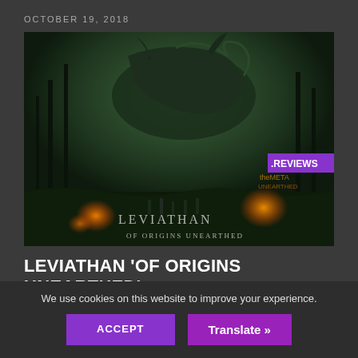OCTOBER 19, 2018
[Figure (illustration): Dark fantasy game artwork showing a massive dragon-like Leviathan creature towering over small figures in a dark forest with glowing fire and eerie green light. Text on image reads 'LEVIATHAN OF ORIGINS UNEARTHED' with '.REVIEWS' badge overlay.]
LEVIATHAN 'OF ORIGINS UNEARTHED' – REVIEW
We use cookies on this website to improve your experience.
ACCEPT
Translate »